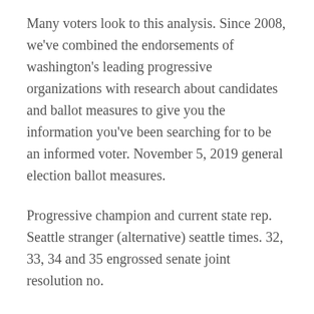Many voters look to this analysis. Since 2008, we've combined the endorsements of washington's leading progressive organizations with research about candidates and ballot measures to give you the information you've been searching for to be an informed voter. November 5, 2019 general election ballot measures.
Progressive champion and current state rep. Seattle stranger (alternative) seattle times. 32, 33, 34 and 35 engrossed senate joint resolution no.
The washington secretary of state website provides access to the statewide voters' guide in multiple formats,. Vote in every race on your ballot! Washington state is holding the 2020 primary on tuesday, aug.
On tuesday, november 3, 2020. The league of women voters